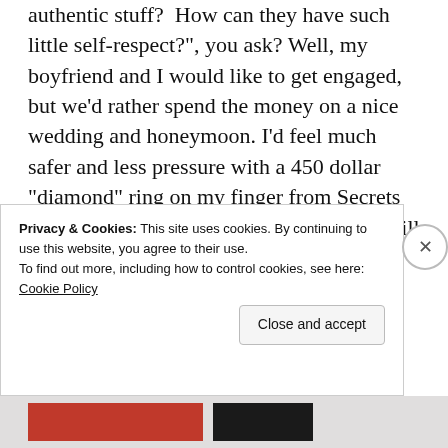authentic stuff? How can they have such little self-respect?", you ask? Well, my boyfriend and I would like to get engaged, but we'd rather spend the money on a nice wedding and honeymoon. I'd feel much safer and less pressure with a 450 dollar "diamond" ring on my finger from Secrets than a 5000 diamond ring from Michael Hill (who isn't all that good anyway- I've got horror stories from someone who worked there). Good on them for catering for the middle class. It
Privacy & Cookies: This site uses cookies. By continuing to use this website, you agree to their use.
To find out more, including how to control cookies, see here: Cookie Policy